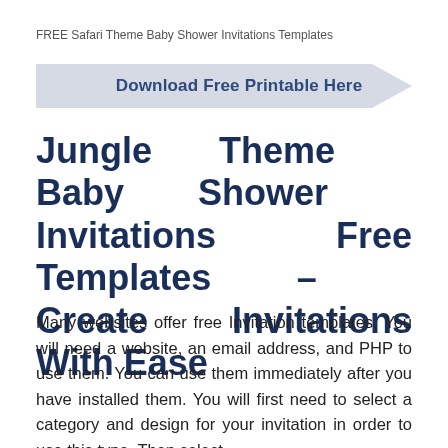FREE Safari Theme Baby Shower Invitations Templates
[Figure (infographic): Arrow-shaped banner button with text 'Download Free Printable Here' in dark blue bold text on a light grey/blue arrow shape]
Jungle Theme Baby Shower Invitations Free Templates – Create Invitations With Ease
Many websites offer free Invitation templates. You will need a website, an email address, and PHP to use them. You can use them immediately after you have installed them. You will first need to select a category and design for your invitation in order to use this type. Then select